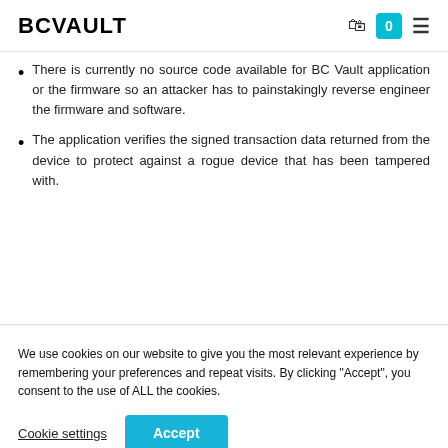BCVAULT
There is currently no source code available for BC Vault application or the firmware so an attacker has to painstakingly reverse engineer the firmware and software.
The application verifies the signed transaction data returned from the device to protect against a rogue device that has been tampered with.
We use cookies on our website to give you the most relevant experience by remembering your preferences and repeat visits. By clicking “Accept”, you consent to the use of ALL the cookies.
Cookie settings  Accept